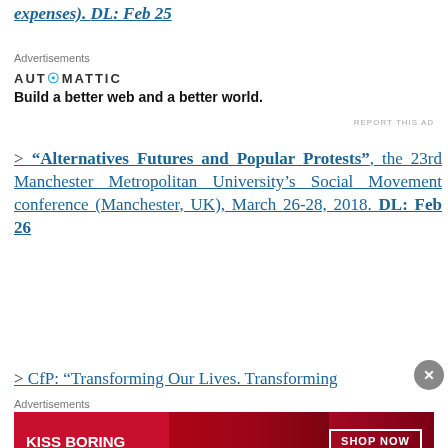expenses). DL: Feb 25
Advertisements
[Figure (other): Automattic advertisement: logo 'AUTOMATTIC' with tagline 'Build a better web and a better world.']
> CfP: “Alternatives Futures and Popular Protests”, the 23rd Manchester Metropolitan University’s Social Movement conference (Manchester, UK), March 26-28, 2018. DL: Feb 26
> CfP: “Transforming Our Lives. Transforming…
Advertisements
[Figure (photo): Macy's advertisement: 'KISS BORING LIPS GOODBYE' with woman's lips and 'SHOP NOW' button and Macy's logo]